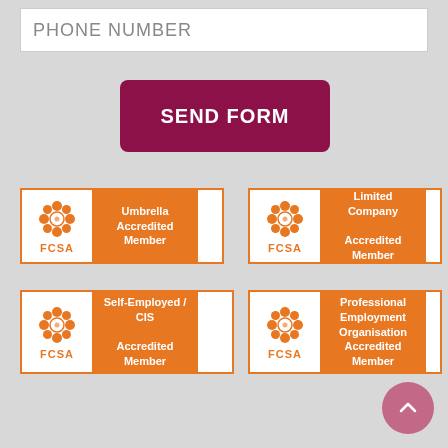PHONE NUMBER
SEND FORM
[Figure (logo): FCSA Umbrella Accredited Member badge - orange and white logo]
[Figure (logo): FCSA Limited Company Accredited Member badge - orange and white logo]
[Figure (logo): FCSA Self-Employed / CIS Accredited Member badge - orange and white logo]
[Figure (logo): FCSA Professional Employment Organisation Accredited Member badge - orange and white logo]